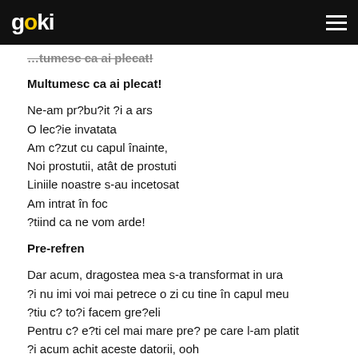goki
...
Multumesc ca ai plecat!
Ne-am pr?bu?it ?i a ars
O lec?ie invatata
Am c?zut cu capul înainte,
Noi prostutii, atât de prostuti
Liniile noastre s-au incetosat
Am intrat în foc
?tiind ca ne vom arde!
Pre-refren
Dar acum, dragostea mea s-a transformat in ura
?i nu imi voi mai petrece o zi cu tine în capul meu
?tiu c? to?i facem gre?eli
Pentru c? e?ti cel mai mare pre? pe care l-am platit
?i acum achit aceste datorii, ooh
Refren
Haide! Ti-am trimis ambalajul
Atât de mult timp! Ai fost praf de c?rbune
Suntem fara motive
Multumesc ca ai plecat!